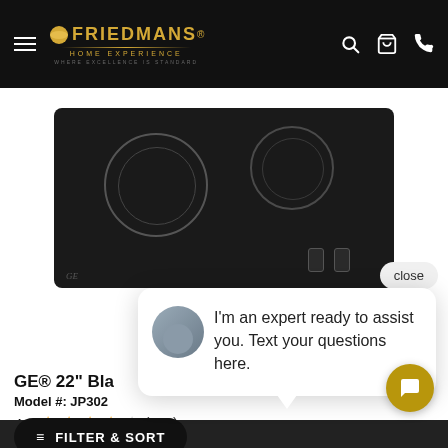Friedmans Home Experience — WHERE EXCELLENCE IS STANDARD
[Figure (photo): Black electric cooktop with two round burner rings and control knobs, GE brand logo visible at bottom left]
close
[Figure (screenshot): Chat popup with expert avatar photo and message: I'm an expert ready to assist you. Text your questions here.]
GE® 22" Bla[ck...]
Model #: JP302...
4.4 ★★★★☆ (529)
FILTER & SORT
.90